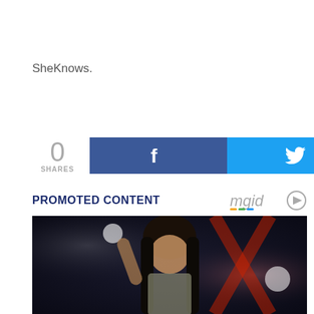SheKnows.
[Figure (other): Social share buttons: 0 SHARES count on left, Facebook blue button with f icon, Twitter cyan button with bird icon]
PROMOTED CONTENT
[Figure (photo): Photo of a woman with long dark hair performing on stage, wearing a sparkly outfit, with colorful stage lighting in the background]